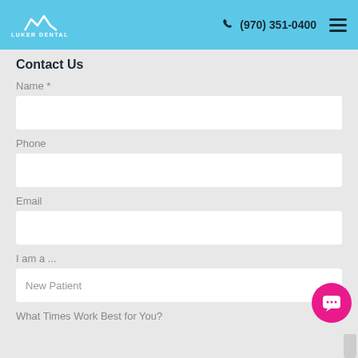LUKER DENTAL  (970) 351-0400
Contact Us
Name *
Phone
Email
I am a ...
New Patient
What Times Work Best for You?